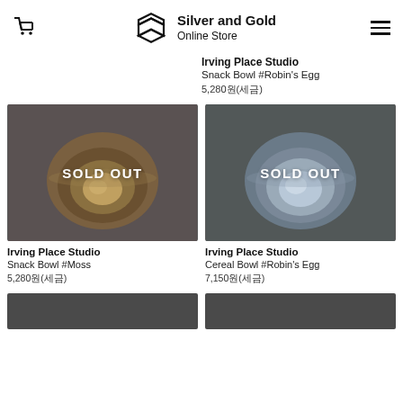Silver and Gold Online Store
Irving Place Studio
Snack Bowl #Robin's Egg
5,280원(세금)
[Figure (photo): Ceramic snack bowl with moss/brown glaze on dark gray background, SOLD OUT overlay]
[Figure (photo): Ceramic cereal bowl with robin's egg blue glaze on dark gray background, SOLD OUT overlay]
Irving Place Studio
Snack Bowl #Moss
5,280원(세금)
Irving Place Studio
Cereal Bowl #Robin's Egg
7,150원(세금)
[Figure (photo): Bottom strip left product thumbnail, dark gray]
[Figure (photo): Bottom strip right product thumbnail, dark gray]